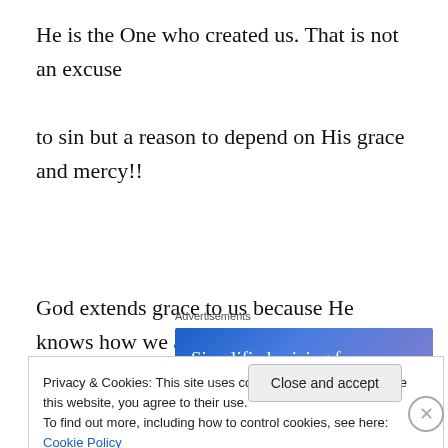He is the One who created us. That is not an excuse to sin but a reason to depend on His grace and mercy!!
God extends grace to us because He knows how we are formed……
Advertisements
[Figure (other): Advertisement banner with blue-purple gradient background and white text reading 'Simplified pricing for everything you need']
Privacy & Cookies: This site uses cookies. By continuing to use this website, you agree to their use.
To find out more, including how to control cookies, see here: Cookie Policy
Close and accept